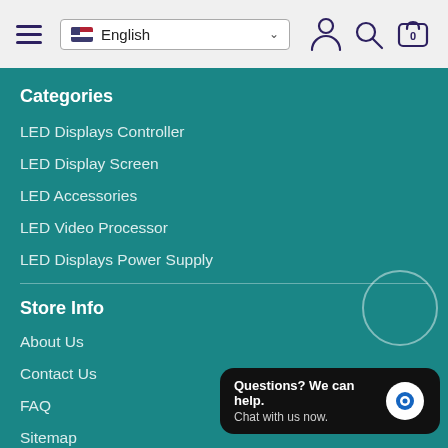Navigation header with hamburger menu, English language selector, user icon, search icon, and cart icon (0 items)
Categories
LED Displays Controller
LED Display Screen
LED Accessories
LED Video Processor
LED Displays Power Supply
Store Info
About Us
Contact Us
FAQ
Sitemap
Questions? We can help. Chat with us now.